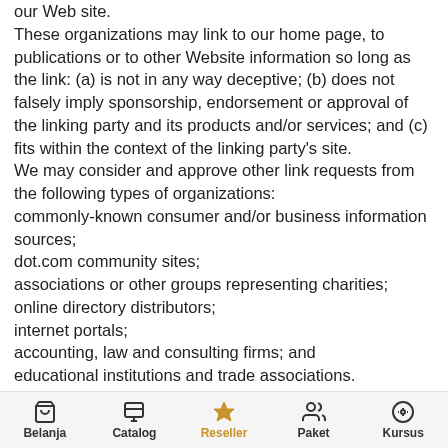our Web site. These organizations may link to our home page, to publications or to other Website information so long as the link: (a) is not in any way deceptive; (b) does not falsely imply sponsorship, endorsement or approval of the linking party and its products and/or services; and (c) fits within the context of the linking party's site. We may consider and approve other link requests from the following types of organizations:
commonly-known consumer and/or business information sources;
dot.com community sites;
associations or other groups representing charities;
online directory distributors;
internet portals;
accounting, law and consulting firms; and
educational institutions and trade associations.
We will approve link requests from these organizations if we decide that: (a) the link would not make us look unfavorably to ourselves or to our accredited businesses; (b) the organization does not have any negative records with us; (c) the benefit to us from the visibility of the hyperlink compensates the absence of Grosir Baju Murah BMGShop; and (d) the link is in the context of general resource information.
Belanja | Catalog | Reseller | Paket | Kursus